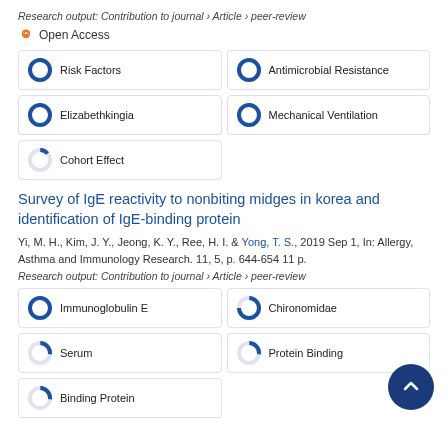Research output: Contribution to journal › Article › peer-review
Open Access
Risk Factors
Antimicrobial Resistance
Elizabethkingia
Mechanical Ventilation
Cohort Effect
Survey of IgE reactivity to nonbiting midges in korea and identification of IgE-binding protein
Yi, M. H., Kim, J. Y., Jeong, K. Y., Ree, H. I. & Yong, T. S., 2019 Sep 1, In: Allergy, Asthma and Immunology Research. 11, 5, p. 644-654 11 p.
Research output: Contribution to journal › Article › peer-review
Immunoglobulin E
Chironomidae
Serum
Protein Binding
Binding Protein